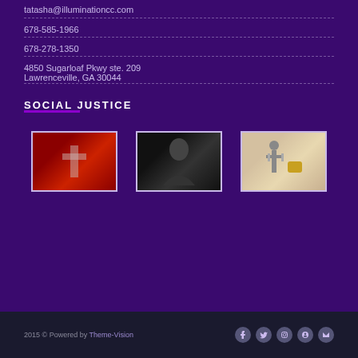tatasha@illuminationcc.com
678-585-1966
678-278-1350
4850 Sugarloaf Pkwy ste. 209
Lawrenceville, GA 30044
SOCIAL JUSTICE
[Figure (photo): Social justice image 1: red background with a cross or sword shape]
[Figure (photo): Social justice image 2: dark black background with draped figure]
[Figure (photo): Social justice image 3: lady justice statue with gold heart on light background]
2015 © Powered by Theme-Vision